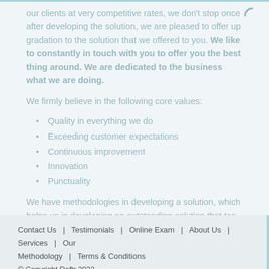our clients at very competitive rates, we don't stop once after developing the solution, we are pleased to offer up gradation to the solution that we offered to you. We like to constantly in touch with you to offer you the best thing around. We are dedicated to the business what we are doing.
We firmly believe in the following core values:
Quality in everything we do
Exceeding customer expectations
Continuous improvement
Innovation
Punctuality
We have methodologies in developing a solution, which helps us in developing an outstanding solution that too in defined time. Our professional software engineers are solely committed to the business and dedicated towards the project they are
Contact Us   Testimonials   Online Exam   About Us   Services   Our Methodology   Terms & Conditions
© Copyright Roftr 2022